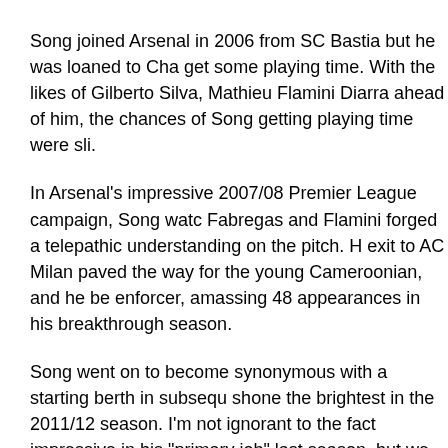Song joined Arsenal in 2006 from SC Bastia but he was loaned to Cha get some playing time. With the likes of Gilberto Silva, Mathieu Flamini Diarra ahead of him, the chances of Song getting playing time were sli.
In Arsenal's impressive 2007/08 Premier League campaign, Song watc Fabregas and Flamini forged a telepathic understanding on the pitch. H exit to AC Milan paved the way for the young Cameroonian, and he be enforcer, amassing 48 appearances in his breakthrough season.
Song went on to become synonymous with a starting berth in subsequ shone the brightest in the 2011/12 season. I'm not ignorant to the fact impressive in his "primary job" last season, but we should remember vi played to Arsene Wenger's instructions.
If I take you down memory lane in the days when Song looked like a hy and Djibril Cisse, he was the water carrier of the team and he allowed like Fabregas to their thing with the confidence that he was going to br before him. Song's performances in the 2009/10 season were so impre time in handing him a long-term deal that was to expire in 2014.
When Cesc Fabregas and Samir Nasri departed last summer, the pani hard, it sprang out of it's remote control. The subsequent games follow